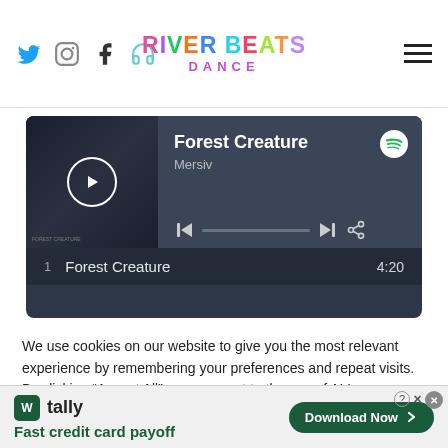River Beats Dance — social icons: Twitter, Instagram, Facebook, Headphones; hamburger menu
[Figure (screenshot): Spotify embedded player showing track 'Forest Creature' by Mersiv, with album art, play button, progress bar, skip controls, share icon, and tracklist entry: 1  Forest Creature  4:20]
We use cookies on our website to give you the most relevant experience by remembering your preferences and repeat visits. By clicking “Accept All”, you consent to the use of ALL
[Figure (screenshot): Advertisement banner for Tally app: green Tally logo icon, 'tally' brand name, tagline 'Fast credit card payoff', and 'Download Now' button with arrow]